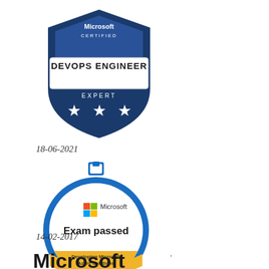[Figure (logo): Microsoft Certified DevOps Engineer Expert badge — dark blue shield shape with white text 'Microsoft CERTIFIED' at top, white banner with 'DEVOPS ENGINEER' in dark text, blue lower section with 'EXPERT' and three white stars]
18-06-2021
[Figure (logo): Microsoft Exam Passed badge — circular blue-bordered badge with white interior, Microsoft logo at top, bold text 'Exam passed', yellow/gold band at bottom with text 'Developing Microsoft Azure Solutions', small clipboard icon at top of circle]
14-02-2017
[Figure (logo): Microsoft Certified Professional logo — bold black 'Microsoft' wordmark with registered mark, 'CERTIFIED' in bold blue spaced letters below, horizontal blue underline, 'Professional' in blue italic script]